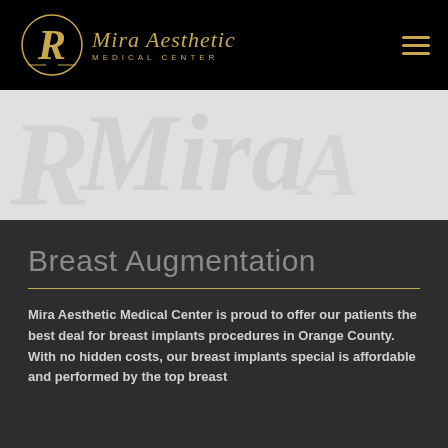[Figure (logo): Mira Aesthetic Medical Center logo with golden script lettering and decorative emblem on black background, with hamburger menu icon]
[Figure (photo): Hero banner image showing faded/watermark style medical or aesthetic imagery on light grey background]
Breast Augmentation
Mira Aesthetic Medical Center is proud to offer our patients the best deal for breast implants procedures in Orange County. With no hidden costs, our breast implants special is affordable and performed by the top breast